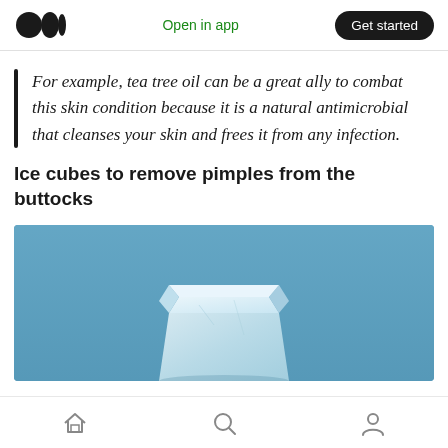Open in app | Get started
For example, tea tree oil can be a great ally to combat this skin condition because it is a natural antimicrobial that cleanses your skin and frees it from any infection.
Ice cubes to remove pimples from the buttocks
[Figure (photo): A single ice cube on a blue background, photographed from slightly above]
Home | Search | Profile